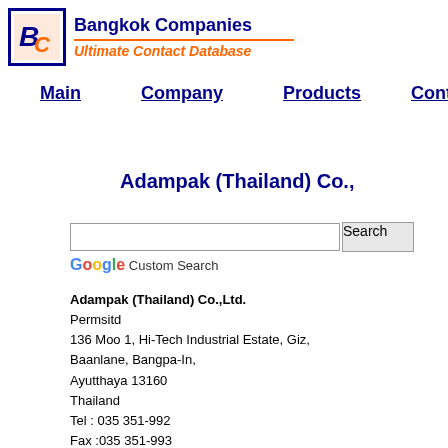Bangkok Companies — Ultimate Contact Database
Main | Company | Products | Conta
Adampak (Thailand) Co.,
Google Custom Search [search box]
Adampak (Thailand) Co.,Ltd.
Permsitd
136 Moo 1, Hi-Tech Industrial Estate, Giz,
Baanlane, Bangpa-In,
Ayutthaya 13160
Thailand
Tel : 035 351-992
Fax :035 351-993
E-mail : amornrat@adampak.co.th